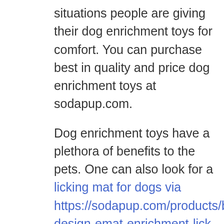situations people are giving their dog enrichment toys for comfort. You can purchase best in quality and price dog enrichment toys at sodapup.com.

Dog enrichment toys have a plethora of benefits to the pets. One can also look for a licking mat for dogs via https://sodapup.com/products/bones-design-emat-enrichment-lick-mat-purple online to get the best enrichment toy for your pet. These toys keep your dog physically active, happy, and having fun. They will also help him feel physical, mentally, and emotionally satisfied. Dog enrichment toys come in various shapes, sizes, and qualities. You can purchase attractive and soft ones for your
[Figure (other): Social sharing sidebar with Facebook (blue), Google+ (red), Twitter (blue), and Add/Plus (dark) circular icon buttons]